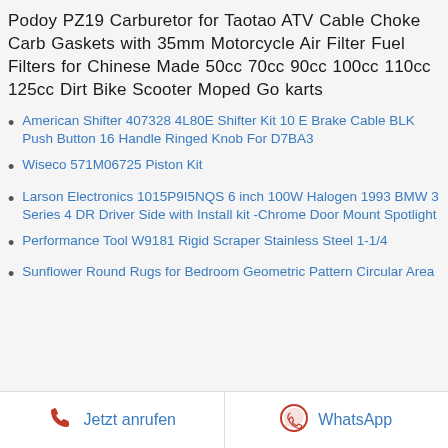Podoy PZ19 Carburetor for Taotao ATV Cable Choke Carb Gaskets with 35mm Motorcycle Air Filter Fuel Filters for Chinese Made 50cc 70cc 90cc 100cc 110cc 125cc Dirt Bike Scooter Moped Go karts
American Shifter 407328 4L80E Shifter Kit 10 E Brake Cable BLK Push Button 16 Handle Ringed Knob For D7BA3
Wiseco 571M06725 Piston Kit
Larson Electronics 1015P9I5NQS 6 inch 100W Halogen 1993 BMW 3 Series 4 DR Driver Side with Install kit -Chrome Door Mount Spotlight
Performance Tool W9181 Rigid Scraper Stainless Steel 1-1/4
Sunflower Round Rugs for Bedroom Geometric Pattern Circular Area
Jetzt anrufen | WhatsApp